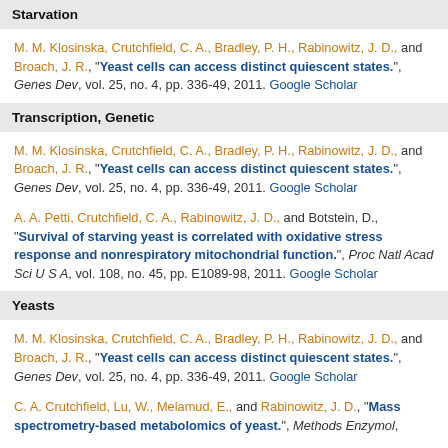Starvation
M. M. Klosinska, Crutchfield, C. A., Bradley, P. H., Rabinowitz, J. D., and Broach, J. R., “Yeast cells can access distinct quiescent states.”, Genes Dev, vol. 25, no. 4, pp. 336-49, 2011. Google Scholar
Transcription, Genetic
M. M. Klosinska, Crutchfield, C. A., Bradley, P. H., Rabinowitz, J. D., and Broach, J. R., “Yeast cells can access distinct quiescent states.”, Genes Dev, vol. 25, no. 4, pp. 336-49, 2011. Google Scholar
A. A. Petti, Crutchfield, C. A., Rabinowitz, J. D., and Botstein, D., “Survival of starving yeast is correlated with oxidative stress response and nonrespiratory mitochondrial function.”, Proc Natl Acad Sci U S A, vol. 108, no. 45, pp. E1089-98, 2011. Google Scholar
Yeasts
M. M. Klosinska, Crutchfield, C. A., Bradley, P. H., Rabinowitz, J. D., and Broach, J. R., “Yeast cells can access distinct quiescent states.”, Genes Dev, vol. 25, no. 4, pp. 336-49, 2011. Google Scholar
C. A. Crutchfield, Lu, W., Melamud, E., and Rabinowitz, J. D., “Mass spectrometry-based metabolomics of yeast.”, Methods Enzymol,